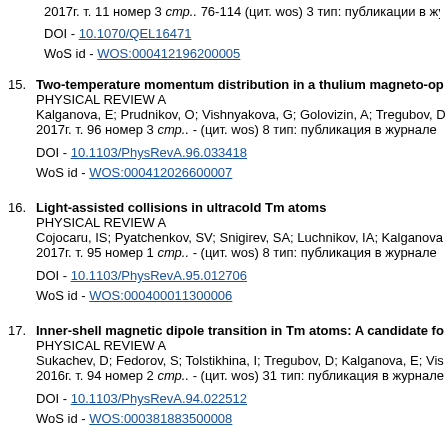2017г. т. 11 номер 3 стр.. 76-114 (цит. wos) 3 тип: публикации в журнале
DOI - 10.1070/QEL16471
WoS id - WOS:000412196200005
15. Two-temperature momentum distribution in a thulium magneto-op
PHYSICAL REVIEW A
Kalganova, E; Prudnikov, O; Vishnyakova, G; Golovizin, A; Tregubov, D
2017г. т. 96 номер 3 стр.. - (цит. wos) 8 тип: публикация в журнале
DOI - 10.1103/PhysRevA.96.033418
WoS id - WOS:000412026600007
16. Light-assisted collisions in ultracold Tm atoms
PHYSICAL REVIEW A
Cojocaru, IS; Pyatchenkov, SV; Snigirev, SA; Luchnikov, IA; Kalganova
2017г. т. 95 номер 1 стр.. - (цит. wos) 8 тип: публикация в журнале
DOI - 10.1103/PhysRevA.95.012706
WoS id - WOS:000400011300006
17. Inner-shell magnetic dipole transition in Tm atoms: A candidate fo
PHYSICAL REVIEW A
Sukachev, D; Fedorov, S; Tolstikhina, I; Tregubov, D; Kalganova, E; Vis
2016г. т. 94 номер 2 стр.. - (цит. wos) 31 тип: публикация в журнале
DOI - 10.1103/PhysRevA.94.022512
WoS id - WOS:000381883500008